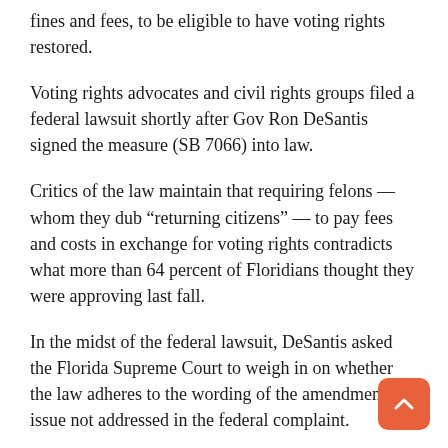fines and fees, to be eligible to have voting rights restored.
Voting rights advocates and civil rights groups filed a federal lawsuit shortly after Gov Ron DeSantis signed the measure (SB 7066) into law.
Critics of the law maintain that requiring felons — whom they dub “returning citizens” — to pay fees and costs in exchange for voting rights contradicts what more than 64 percent of Floridians thought they were approving last fall.
In the midst of the federal lawsuit, DeSantis asked the Florida Supreme Court to weigh in on whether the law adheres to the wording of the amendment, an issue not addressed in the federal complaint.
During arguments Wednesday, Supreme Court justices repeatedly relied on amendment proponents’ own words — in newspaper opinion pieces and in a missive to Secretary of State Laurel Lee in December — that said returning citizens’ eligibility rests on whether they have fulfilled their time